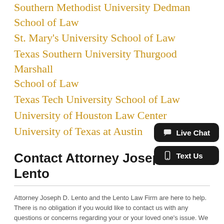Southern Methodist University Dedman School of Law
St. Mary's University School of Law
Texas Southern University Thurgood Marshall School of Law
Texas Tech University School of Law
University of Houston Law Center
University of Texas at Austin
Contact Attorney Joseph D. Lento
Attorney Joseph D. Lento and the Lento Law Firm are here to help. There is no obligation if you would like to contact us with any questions or concerns regarding your or your loved one's issue. We will follow up with you and let you know how we can help.
Name *